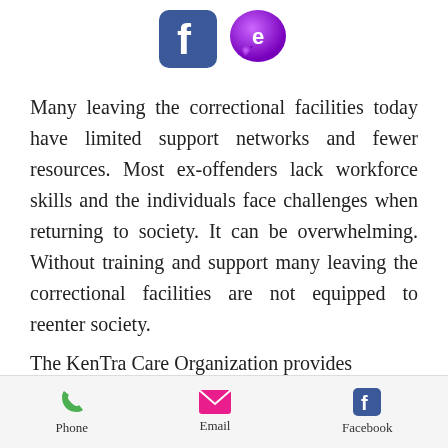[Figure (logo): Two social media icons: Facebook (blue square with white 'f') and a purple speech bubble icon with 'e']
Many leaving the correctional facilities today have limited support networks and fewer resources. Most ex-offenders lack workforce skills and the individuals face challenges when returning to society. It can be overwhelming. Without training and support many leaving the correctional facilities are not equipped to reenter society.
The KenTra Care Organization provides
Phone   Email   Facebook